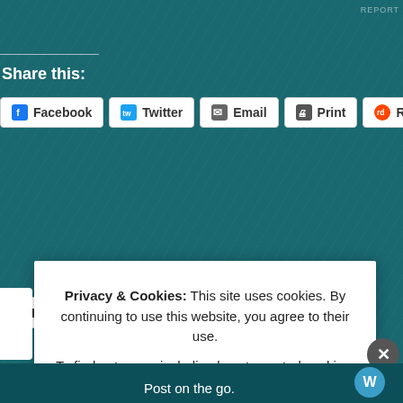REPORT
Share this:
Facebook
Twitter
Email
Print
Reddit
Pinterest
Like
2 bloggers like this.
Tags: all about me, David, faithfulness, glory of God, psalm 23, psalmthings, valley of shadow of death, where is God when it hurts
Privacy & Cookies: This site uses cookies. By continuing to use this website, you agree to their use. To find out more, including how to control cookies, see here: Cookie Policy
Close and accept
Post on the go.